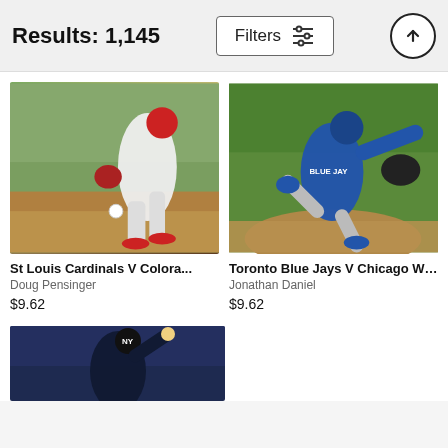Results: 1,145
Filters
[Figure (photo): St Louis Cardinals pitcher in white uniform mid-pitch on the mound]
St Louis Cardinals V Colora...
Doug Pensinger
$9.62
[Figure (photo): Toronto Blue Jays pitcher in blue uniform throwing a pitch]
Toronto Blue Jays V Chicago Whit...
Jonathan Daniel
$9.62
[Figure (photo): Baseball pitcher in dark uniform mid-pitch, partial view at bottom of page]